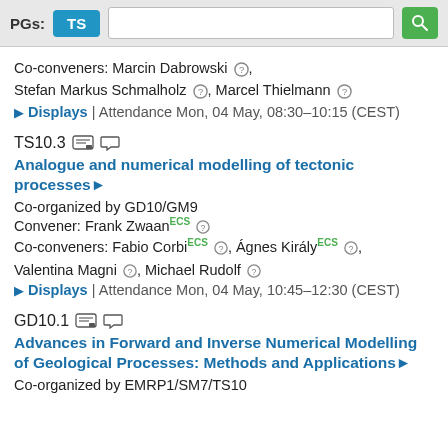PGs: TS [search bar] [search button]
Co-conveners: Marcin Dabrowski, Stefan Markus Schmalholz, Marcel Thielmann
▶ Displays | Attendance Mon, 04 May, 08:30–10:15 (CEST)
TS10.3
Analogue and numerical modelling of tectonic processes▶
Co-organized by GD10/GM9
Convener: Frank ZwaanECS
Co-conveners: Fabio CorbiECS, Ágnes KirályECS, Valentina Magni, Michael Rudolf
▶ Displays | Attendance Mon, 04 May, 10:45–12:30 (CEST)
GD10.1
Advances in Forward and Inverse Numerical Modelling of Geological Processes: Methods and Applications▶
Co-organized by EMRP1/SM7/TS10